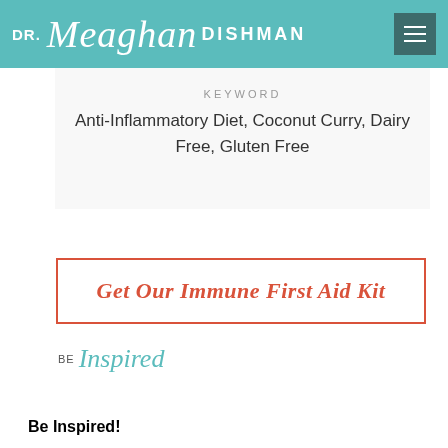DR. Meaghan DISHMAN
KEYWORD
Anti-Inflammatory Diet, Coconut Curry, Dairy Free, Gluten Free
[Figure (other): Get Our Immune First Aid Kit button with red border]
[Figure (logo): Be Inspired logo with teal script text]
Be Inspired!